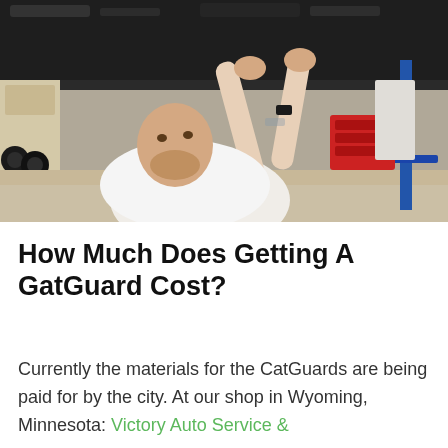[Figure (photo): A mechanic in a white t-shirt working underneath a car in an auto repair shop, looking up and reaching into the vehicle's undercarriage. Auto shop equipment and tires visible in background.]
How Much Does Getting A GatGuard Cost?
Currently the materials for the CatGuards are being paid for by the city. At our shop in Wyoming, Minnesota: Victory Auto Service &